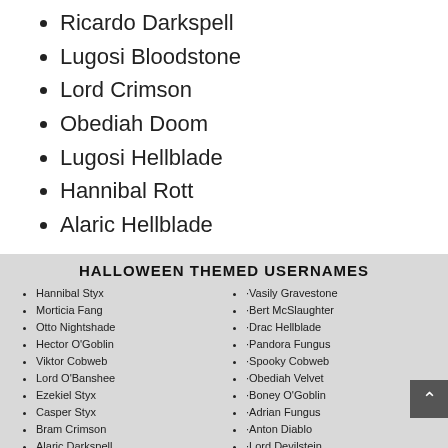Ricardo Darkspell
Lugosi Bloodstone
Lord Crimson
Obediah Doom
Lugosi Hellblade
Hannibal Rott
Alaric Hellblade
HALLOWEEN THEMED USERNAMES
Hannibal Styx
Morticia Fang
Otto Nightshade
Hector O'Goblin
Viktor Cobweb
Lord O'Banshee
Ezekiel Styx
Casper Styx
Bram Crimson
Alaric Darkspell
Baron Fungus
-Vasily Gravestone
-Bert McSlaughter
-Drac Hellblade
-Pandora Fungus
-Spooky Cobweb
-Obediah Velvet
-Boney O'Goblin
-Adrian Fungus
-Anton Diablo
-Lord Devilstein
-Otto McBiteyface